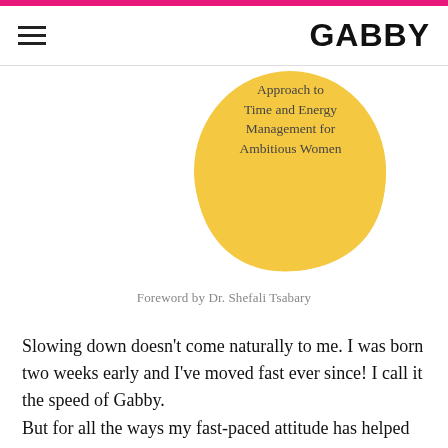GABBY
[Figure (illustration): Partial book cover showing a yellow circular blob with text: Approach to Time and Energy Management for Ambitious Women]
Foreword by Dr. Shefali Tsabary
Slowing down doesn’t come naturally to me. I was born two weeks early and I’ve moved fast ever since! I call it the speed of Gabby.
But for all the ways my fast-paced attitude has helped me, I’ve also learned to be very conscious